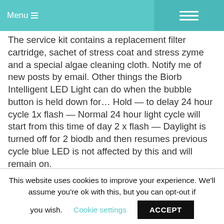Menu
The service kit contains a replacement filter cartridge, sachet of stress coat and stress zyme and a special algae cleaning cloth. Notify me of new posts by email. Other things the Biorb Intelligent LED Light can do when the bubble button is held down for… Hold — to delay 24 hour cycle 1x flash — Normal 24 hour light cycle will start from this time of day 2 x flash — Daylight is turned off for 2 biodb and then resumes previous cycle blue LED is not affected by this and will remain on.
GANPATI ATHARVASHIRSHA PDF
This website uses cookies to improve your experience. We'll assume you're ok with this, but you can opt-out if you wish.
Cookie settings
ACCEPT